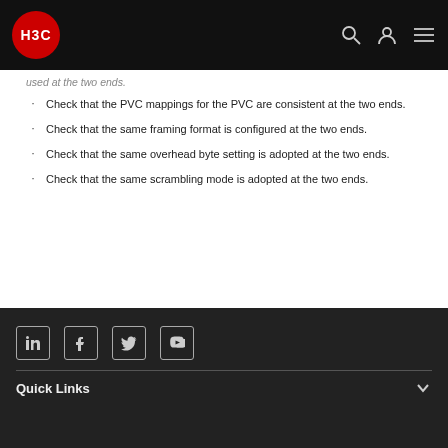H3C
used at the two ends.
Check that the PVC mappings for the PVC are consistent at the two ends.
Check that the same framing format is configured at the two ends.
Check that the same overhead byte setting is adopted at the two ends.
Check that the same scrambling mode is adopted at the two ends.
Quick Links